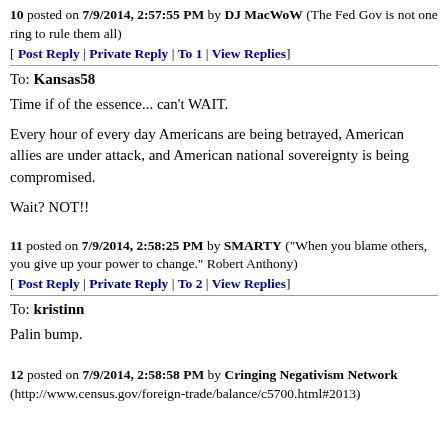10 posted on 7/9/2014, 2:57:55 PM by DJ MacWoW (The Fed Gov is not one ring to rule them all)
[ Post Reply | Private Reply | To 1 | View Replies]
To: Kansas58
Time if of the essence... can’t WAIT.
Every hour of every day Americans are being betrayed, American allies are under attack, and American national sovereignty is being compromised.
Wait? NOT!!
11 posted on 7/9/2014, 2:58:25 PM by SMARTY ("When you blame others, you give up your power to change." Robert Anthony)
[ Post Reply | Private Reply | To 2 | View Replies]
To: kristinn
Palin bump.
12 posted on 7/9/2014, 2:58:58 PM by Cringing Negativism Network (http://www.census.gov/foreign-trade/balance/c5700.html#2013)